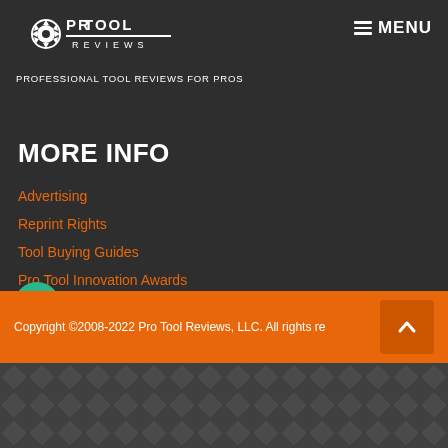[Figure (logo): Pro Tool Reviews logo with saw blade icon and text 'PRO TOOL REVIEWS' with tagline 'PROFESSIONAL TOOL REVIEWS FOR PROS']
MORE INFO
Advertising
Reprint Rights
Tool Buying Guides
Pro Tool Innovation Awards
Tool Giveaways
Tool Manufacturers and Tool Brands by Logo
Pro Tool Reviews Writers and Editors
Sign Up for Our Newsletter
Copyright ©2008-2022 Pro Tool Reviews, LLC. All rights re